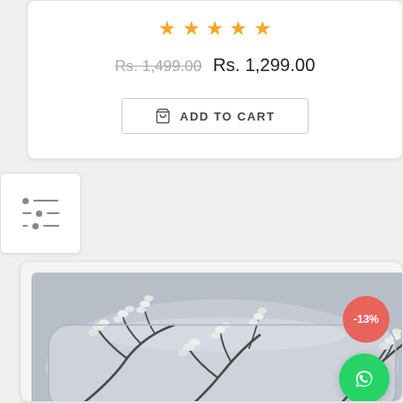[Figure (other): Five golden star rating icons in a row]
Rs. 1,499.00 Rs. 1,299.00
ADD TO CART
[Figure (other): Filter/sliders icon in a white square panel]
[Figure (photo): A decorative pillow with a grey linen fabric featuring white embroidered floral branch pattern (pussy willow/catkin design). A red circular badge shows -13% discount. A green WhatsApp chat button is visible in the bottom right corner.]